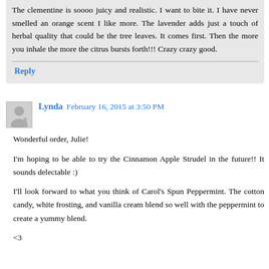The clementine is soooo juicy and realistic. I want to bite it. I have never smelled an orange scent I like more. The lavender adds just a touch of herbal quality that could be the tree leaves. It comes first. Then the more you inhale the more the citrus bursts forth!!! Crazy crazy good.
Reply
Lynda  February 16, 2015 at 3:50 PM
Wonderful order, Julie!

I'm hoping to be able to try the Cinnamon Apple Strudel in the future!! It sounds delectable :)

I'll look forward to what you think of Carol's Spun Peppermint. The cotton candy, white frosting, and vanilla cream blend so well with the peppermint to create a yummy blend.

<3